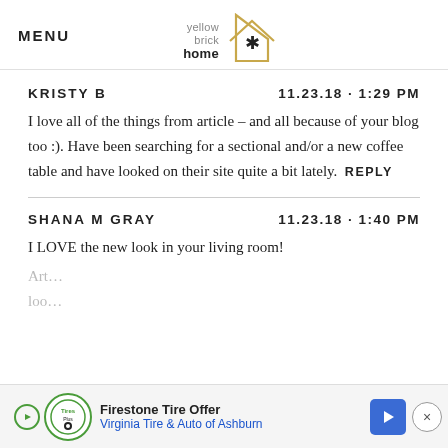MENU | yellow brick home (logo)
KRISTY B	11.23.18 - 1:29 PM
I love all of the things from article – and all because of your blog too :). Have been searching for a sectional and/or a new coffee table and have looked on their site quite a bit lately. REPLY
SHANA M GRAY	11.23.18 - 1:40 PM
I LOVE the new look in your living room!
[Figure (infographic): Firestone Tire Offer advertisement banner - Virginia Tire & Auto of Ashburn with logo, play button, arrow icon, and close button]